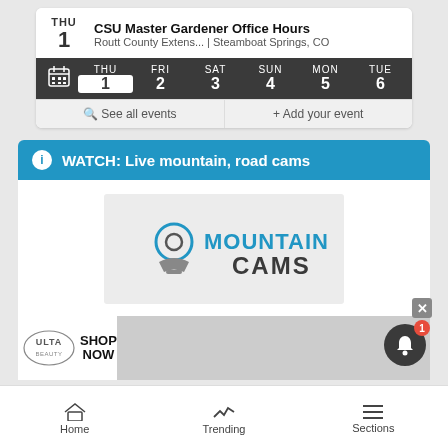THU 1 — CSU Master Gardener Office Hours — Routt County Extens... | Steamboat Springs, CO
[Figure (screenshot): Calendar navigation bar showing THU 1, FRI 2, SAT 3, SUN 4, MON 5, TUE 6 on dark background]
See all events  + Add your event
WATCH: Live mountain, road cams
[Figure (logo): Mountain Cams logo — webcam icon with MOUNTAIN CAMS text in blue and dark gray]
[Figure (photo): ULTA beauty advertisement banner with makeup/cosmetics imagery and SHOP NOW button]
Home   Trending   Sections